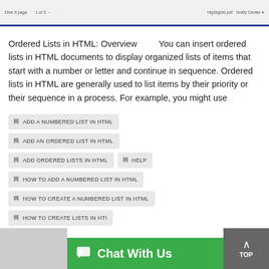Ordered Lists in HTML
Ordered Lists in HTML: Overview        You can insert ordered lists in HTML documents to display organized lists of items that start with a number or letter and continue in sequence. Ordered lists in HTML are generally used to list items by their priority or their sequence in a process. For example, you might use
ADD A NUMBERED LIST IN HTML
ADD AN ORDERED LIST IN HTML
ADD ORDERED LISTS IN HTML
HELP
HOW TO ADD A NUMBERED LIST IN HTML
HOW TO CREATE A NUMBERED LIST IN HTML
HOW TO CREATE LISTS IN HTM
[Figure (screenshot): Chat With Us green chat bar and TOP button overlay at bottom]